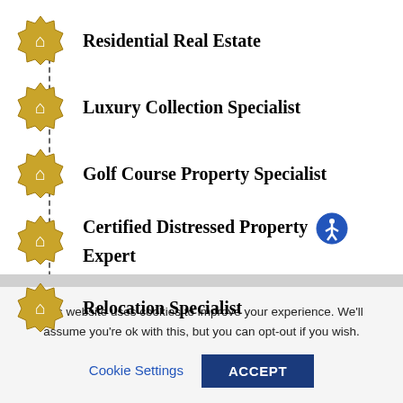Residential Real Estate
Luxury Collection Specialist
Golf Course Property Specialist
Certified Distressed Property Expert
Relocation Specialist
This website uses cookies to improve your experience. We'll assume you're ok with this, but you can opt-out if you wish.
Cookie Settings   ACCEPT